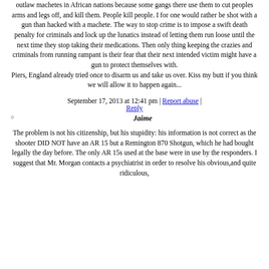outlaw machetes in African nations because some gangs there use them to cut peoples arms and legs off, and kill them. People kill people. I for one would rather be shot with a gun than hacked with a machete. The way to stop crime is to impose a swift death penalty for criminals and lock up the lunatics instead of letting them run loose until the next time they stop taking their medications. Then only thing keeping the crazies and criminals from running rampant is their fear that their next intended victim might have a gun to protect themselves with. Piers, England already tried once to disarm us and take us over. Kiss my butt if you think we will allow it to happen again...
September 17, 2013 at 12:41 pm | Report abuse | Reply
Jaime
The problem is not his citizenship, but his stupidity: his information is not correct as the shooter DID NOT have an AR 15 but a Remington 870 Shotgun, which he had bought legally the day before. The only AR 15s used at the base were in use by the responders. I suggest that Mr. Morgan contacts a psychiatrist in order to resolve his obvious,and quite ridiculous,